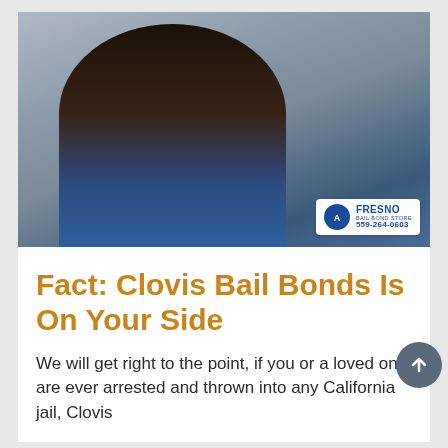[Figure (photo): Woman with long dark hair wearing a blue sweater, smiling and looking to the side, with a Fresno Bail Bond Store logo badge (559-264-0603) in the bottom right corner of the photo]
Fact: Clovis Bail Bonds Is On Your Side
We will get right to the point, if you or a loved one are ever arrested and thrown into any California jail, Clovis